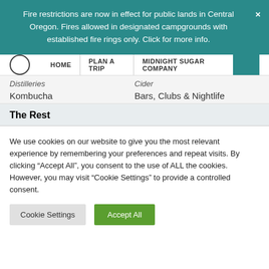Fire restrictions are now in effect for public lands in Central Oregon. Fires allowed in designated campgrounds with established fire rings only. Click for more info.
HOME | PLAN A TRIP | MIDNIGHT SUGAR COMPANY
Distilleries
Cider
Kombucha
Bars, Clubs & Nightlife
The Rest
We use cookies on our website to give you the most relevant experience by remembering your preferences and repeat visits. By clicking “Accept All”, you consent to the use of ALL the cookies. However, you may visit “Cookie Settings” to provide a controlled consent.
Cookie Settings | Accept All